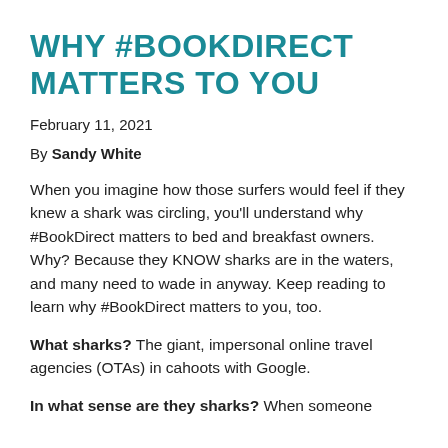WHY #BOOKDIRECT MATTERS TO YOU
February 11, 2021
By Sandy White
When you imagine how those surfers would feel if they knew a shark was circling, you'll understand why #BookDirect matters to bed and breakfast owners. Why? Because they KNOW sharks are in the waters, and many need to wade in anyway. Keep reading to learn why #BookDirect matters to you, too.
What sharks? The giant, impersonal online travel agencies (OTAs) in cahoots with Google.
In what sense are they sharks? When someone